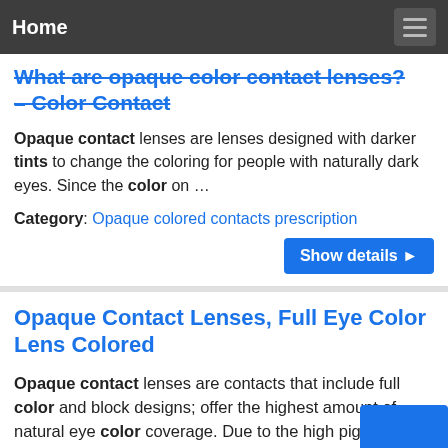Home
What are opaque color contact lenses? – Color Contact
Opaque contact lenses are lenses designed with darker tints to change the coloring for people with naturally dark eyes. Since the color on …
Category: Opaque colored contacts prescription
Show details
Opaque Contact Lenses, Full Eye Color Lens Colored
Opaque contact lenses are contacts that include full color and block designs; offer the highest amount of natural eye color coverage. Due to the high pigmentation of these lenses, there is an endless possibility of potential color